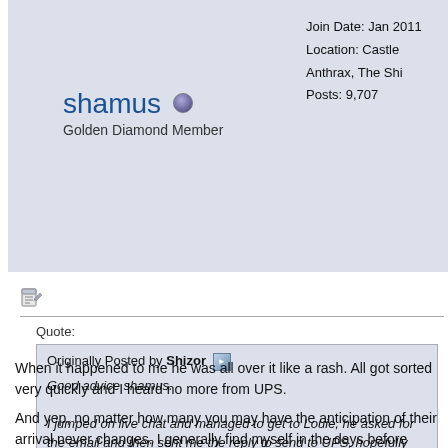Join Date: Jan 2011
Location: Castle Anthrax, The Shi
Posts: 9,707
shamus
Golden Diamond Member
[Figure (other): Post/reply icon (pencil and paper)]
Quote:
Originally Posted by Shizor
Good advice shamus.

I jumped on live chat and managed to get to Louie, he asked for the email and then sent me the reply to send to UPS, hopefully that'll do it but I'm confident he'll sort it out if anything else comes up.

This waiting lark is nerve wracking
When it happened to me he was all over it like a rash. All got sorted very quickly and I heard no more from UPS.
And yep, no matter how many you may have the anticipation of their arrival never changes. I generally find myself in the days before delivery is due rushing around the house making sure that its all neat and tidy as wouldn't want her to get the wrong (or actually right) first